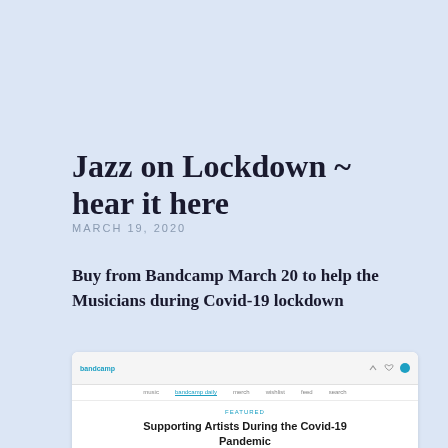Jazz on Lockdown ~ hear it here
MARCH 19, 2020
Buy from Bandcamp March 20 to help the Musicians during Covid-19 lockdown
[Figure (screenshot): Screenshot of a Bandcamp webpage showing an article titled 'Supporting Artists During the Covid-19 Pandemic' with a colorful illustration of musicians below]